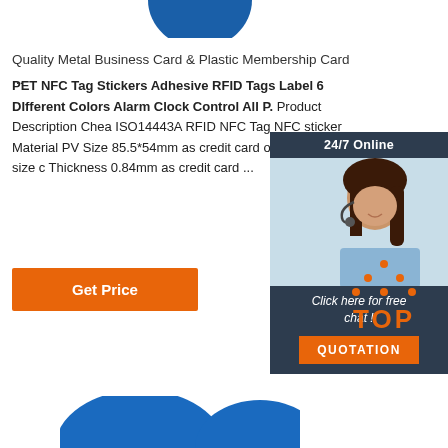[Figure (illustration): Partial blue oval/disc shape at top center of page]
Quality Metal Business Card & Plastic Membership Card ...
PET NFC Tag Stickers Adhesive RFID Tags Label 6 DIfferent Colors Alarm Clock Control All P. Product Description Chea ISO14443A RFID NFC Tag NFC sticker Material PV Size 85.5*54mm as credit card or customized size c Thickness 0.84mm as credit card ...
[Figure (illustration): 24/7 Online chat widget with agent photo, 'Click here for free chat!' text, and QUOTATION orange button]
[Figure (logo): Orange TOP logo with dot triangle above letters]
[Figure (illustration): Partial blue oval/disc shapes at bottom of page]